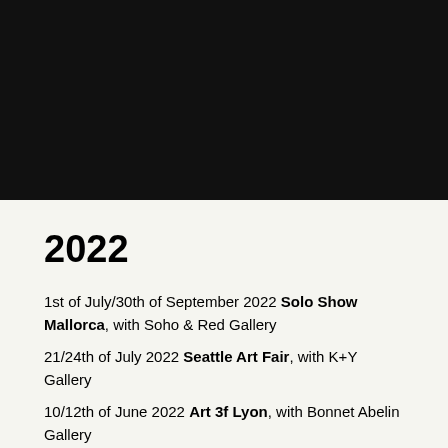[Figure (photo): Black image block at the top of the page]
2022
1st of July/30th of September 2022 Solo Show Mallorca, with Soho & Red Gallery
21/24th of July 2022 Seattle Art Fair, with K+Y Gallery
10/12th of June 2022 Art 3f Lyon, with Bonnet Abelin Gallery
19/22nd of May 2022 Art 3F Luxembourg, with Bel Air Fine Art